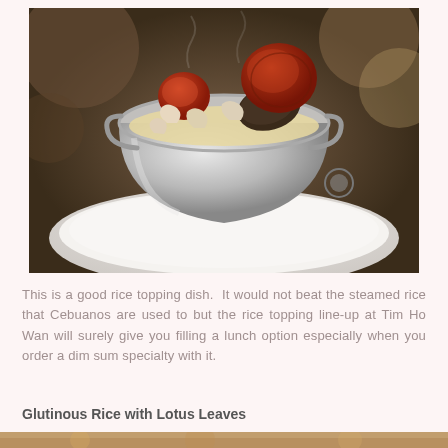[Figure (photo): A silver/metallic bucket or pot containing dim sum items including sliced sausage/lap cheong, mushrooms, and glutinous rice toppings, sitting on a white plate on a wooden table surface.]
This is a good rice topping dish.  It would not beat the steamed rice that Cebuanos are used to but the rice topping line-up at Tim Ho Wan will surely give you filling a lunch option especially when you order a dim sum specialty with it.
Glutinous Rice with Lotus Leaves
[Figure (photo): Bottom portion of another food photo, partially visible at the bottom of the page.]